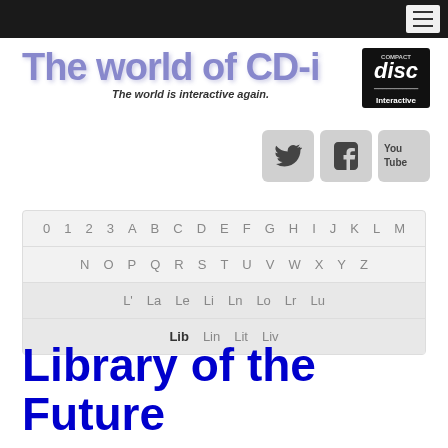The world of CD-i — The world is interactive again.
[Figure (logo): Compact Disc Interactive logo]
[Figure (screenshot): Social media icons: Twitter, Facebook, YouTube]
0 1 2 3 A B C D E F G H I J K L M N O P Q R S T U V W X Y Z
L' La Le Li Ln Lo Lr Lu
Lib Lin Lit Liv
Library of the Future